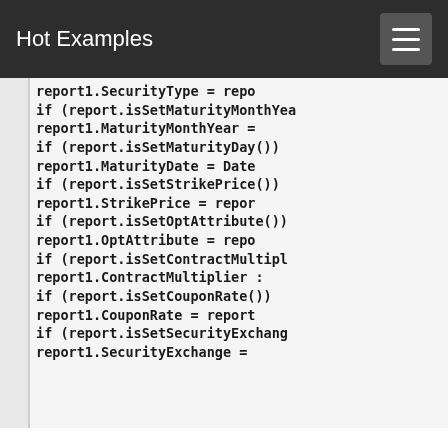Hot Examples
[Figure (screenshot): Code snippet showing C# conditional assignments for financial report object properties including SecurityType, MaturityMonthYear, MaturityDate, StrikePrice, OptAttribute, ContractMultiplier, CouponRate, SecurityExchange fields using if-statement pattern with isSet method checks.]